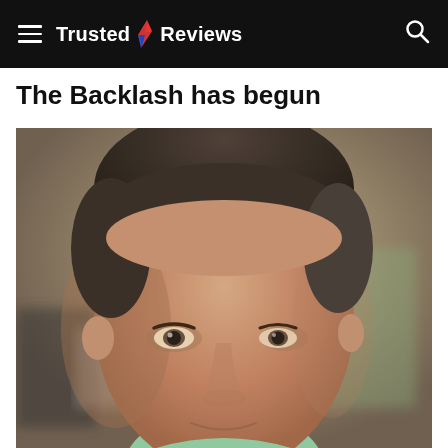Trusted Reviews
The Backlash has begun
[Figure (photo): Close-up portrait photograph of a middle-aged man with short dark hair, looking slightly to the side, wearing a light green shirt. Background is blurred, showing an indoor setting.]